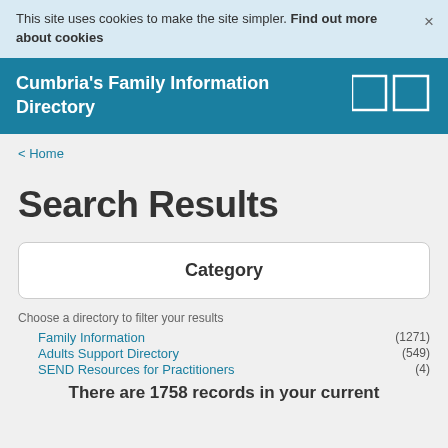This site uses cookies to make the site simpler. Find out more about cookies ×
Cumbria's Family Information Directory
< Home
Search Results
Category
Choose a directory to filter your results
Family Information (1271)
Adults Support Directory (549)
SEND Resources for Practitioners (4)
There are 1758 records in your current